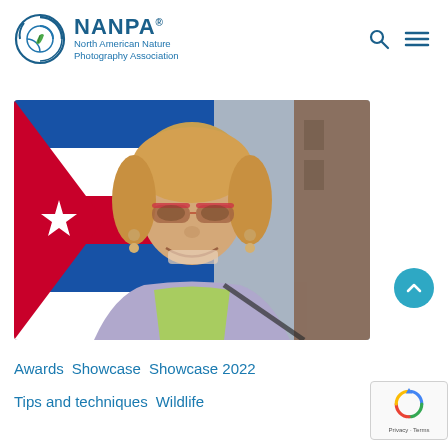[Figure (logo): NANPA logo: circular blue swirl with green leaf, text 'NANPA® North American Nature Photography Association']
[Figure (photo): Woman with blonde hair, sunglasses with red frames, smiling, wearing a lavender shirt and green top, standing in front of a Cuban flag]
Awards   Showcase   Showcase 2022
Tips and techniques   Wildlife